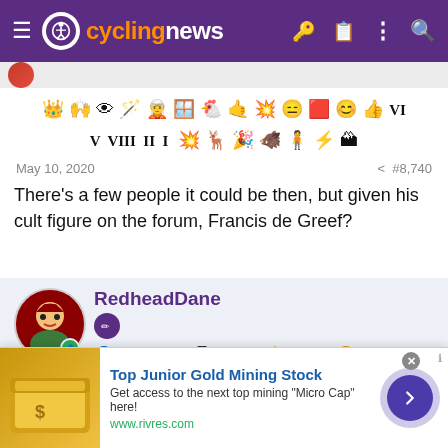cyclingnews
[Figure (screenshot): Partial user avatar strip at top]
[Figure (infographic): Row of emoji/icon badges]
May 10, 2020   #8,740
There's a few people it could be then, but given his cult figure on the forum, Francis de Greef?
RedheadDane — May 5, 2010  34,590  12,302  28,180
[Figure (infographic): User emoji badge row]
[Figure (infographic): Advertisement: Top Junior Gold Mining Stock — Get access to the next top mining Micro Cap here! www.rivres.com]